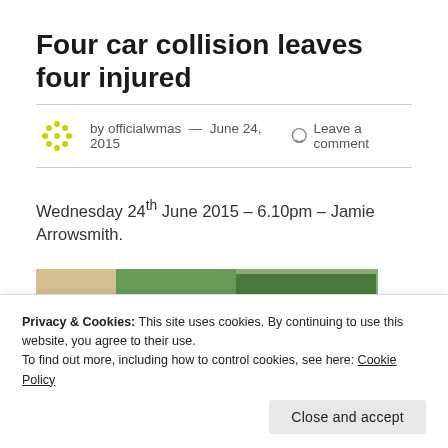Four car collision leaves four injured
by officialwmas — June 24, 2015   Leave a comment
Wednesday 24th June 2015 – 6.10pm – Jamie Arrowsmith.
[Figure (photo): Outdoor scene showing road and trees, partial view of accident scene]
Privacy & Cookies: This site uses cookies. By continuing to use this website, you agree to their use.
To find out more, including how to control cookies, see here: Cookie Policy